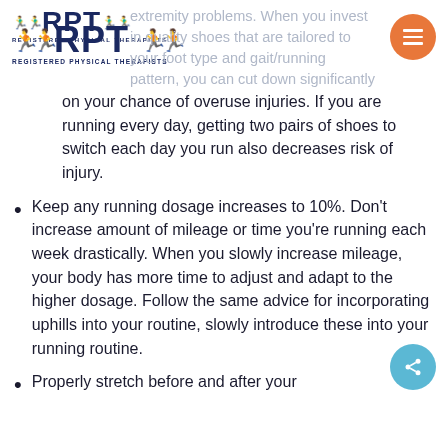RPT - REGISTERED PHYSICAL THERAPISTS
extremity problems. When you invest in quality shoes that are tailored to your foot type and gait/running pattern, you can cut down significantly on your chance of overuse injuries. If you are running every day, getting two pairs of shoes to switch each day you run also decreases risk of injury.
Keep any running dosage increases to 10%. Don't increase amount of mileage or time you're running each week drastically. When you slowly increase mileage, your body has more time to adjust and adapt to the higher dosage. Follow the same advice for incorporating uphills into your routine, slowly introduce these into your running routine.
Properly stretch before and after your run. Stretching the muscles before...